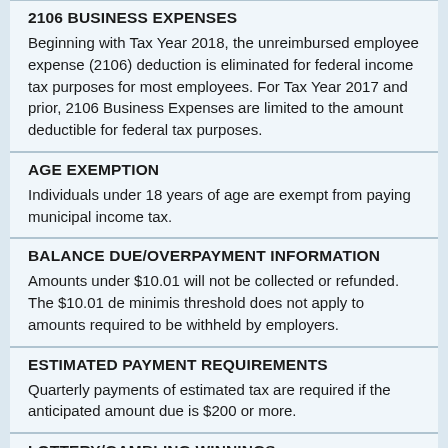2106 BUSINESS EXPENSES
Beginning with Tax Year 2018, the unreimbursed employee expense (2106) deduction is eliminated for federal income tax purposes for most employees. For Tax Year 2017 and prior, 2106 Business Expenses are limited to the amount deductible for federal tax purposes.
AGE EXEMPTION
Individuals under 18 years of age are exempt from paying municipal income tax.
BALANCE DUE/OVERPAYMENT INFORMATION
Amounts under $10.01 will not be collected or refunded.  The $10.01 de minimis threshold does not apply to amounts required to be withheld by employers.
ESTIMATED PAYMENT REQUIREMENTS
Quarterly payments of estimated tax are required if the anticipated amount due is $200 or more.
LOTTERY/GAMBLING WINNINGS
Lottery and gambling winnings are taxable - no minimum. Gambling losses may not offset gambling winnings unless the